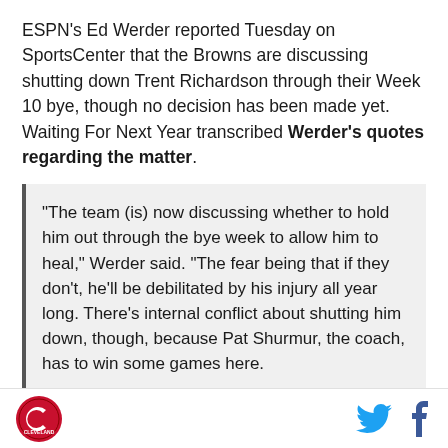ESPN's Ed Werder reported Tuesday on SportsCenter that the Browns are discussing shutting down Trent Richardson through their Week 10 bye, though no decision has been made yet. Waiting For Next Year transcribed Werder's quotes regarding the matter.
"The team (is) now discussing whether to hold him out through the bye week to allow him to heal," Werder said. "The fear being that if they don't, he'll be debilitated by his injury all year long. There's internal conflict about shutting him down, though, because Pat Shurmur, the coach, has to win some games here.

"They've only got one victory and Jimmy Haslam,
Cleveland logo | Twitter icon | Facebook icon